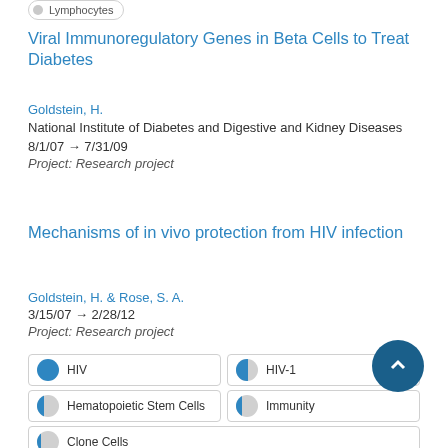Lymphocytes
Viral Immunoregulatory Genes in Beta Cells to Treat Diabetes
Goldstein, H.
National Institute of Diabetes and Digestive and Kidney Diseases
8/1/07 → 7/31/09
Project: Research project
Mechanisms of in vivo protection from HIV infection
Goldstein, H. & Rose, S. A.
3/15/07 → 2/28/12
Project: Research project
HIV
HIV-1
Hematopoietic Stem Cells
Immunity
Clone Cells